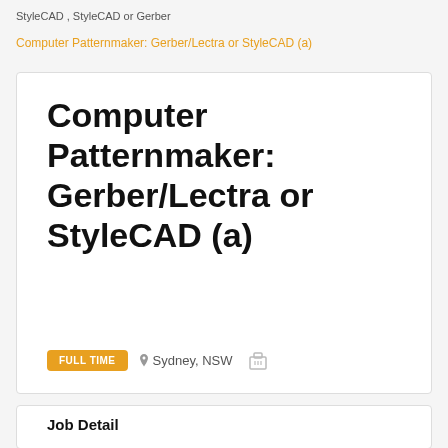StyleCAD , StyleCAD or Gerber
Computer Patternmaker: Gerber/Lectra or StyleCAD (a)
Computer Patternmaker: Gerber/Lectra or StyleCAD (a)
FULL TIME   Sydney, NSW
Job Detail